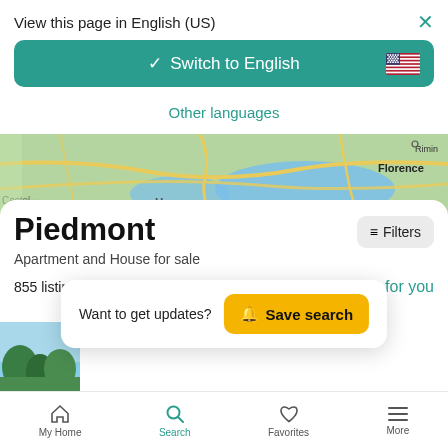View this page in English (US)
[Figure (screenshot): Switch to English button with US flag and teal background]
Other languages
[Figure (map): Map showing northern Italy region including Florence, Rimini, Monaco/Genoa area]
Piedmont
Apartment and House for sale
855 listings
Just for you
Want to get updates?  Save search
[Figure (photo): Partial thumbnail of a property listing with trees]
My Home  Search  Favorites  More